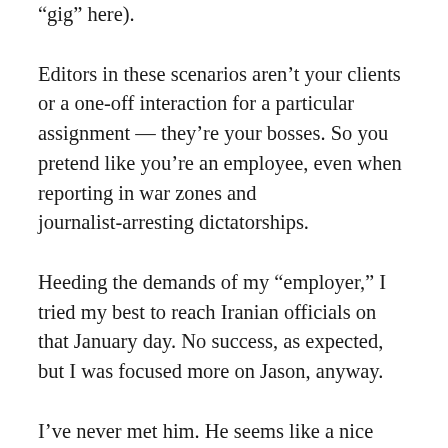“gig” here).
Editors in these scenarios aren’t your clients or a one-off interaction for a particular assignment — they’re your bosses. So you pretend like you’re an employee, even when reporting in war zones and journalist-arresting dictatorships.
Heeding the demands of my “employer,” I tried my best to reach Iranian officials on that January day. No success, as expected, but I was focused more on Jason, anyway.
I’ve never met him. He seems like a nice guy. To this day, I wonder whether the money saved from (possibly) denying Jason health care went